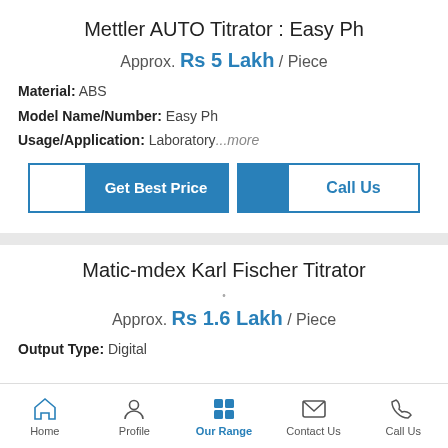Mettler AUTO Titrator : Easy Ph
Approx. Rs 5 Lakh / Piece
Material: ABS
Model Name/Number: Easy Ph
Usage/Application: Laboratory...more
Matic-mdex Karl Fischer Titrator
Approx. Rs 1.6 Lakh / Piece
Output Type: Digital
Home | Profile | Our Range | Contact Us | Call Us